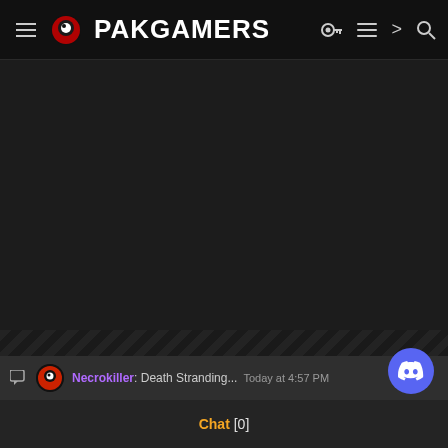PAKGAMERS
[Figure (screenshot): Dark ad placeholder area]
About us
Our community has been around for many years and pride ourselves on offering unbiased, critical discussion among people of all different backgrounds. We are working every day to make sure our community is
Necrokiller: Death Stranding... Today at 4:57 PM
Chat [0]